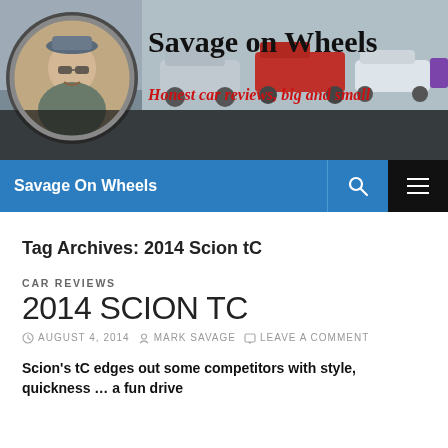[Figure (photo): Savage on Wheels website header banner with logo, author photo in circular frame, cars in background, site title 'Savage on Wheels' and tagline 'Honest car reviews, big and small']
Savage On Wheels
Tag Archives: 2014 Scion tC
CAR REVIEWS
2014 SCION TC
AUGUST 4, 2014  MARK SAVAGE  LEAVE A COMMENT
Scion's tC edges out some competitors with style, quickness … a fun drive